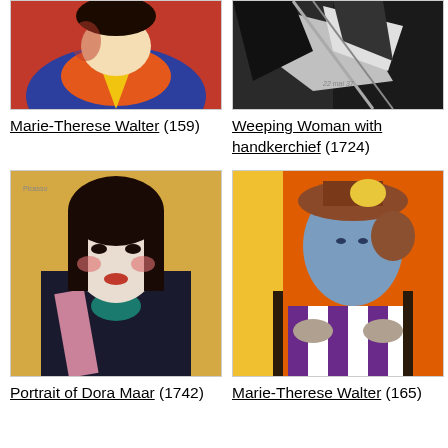[Figure (photo): Painting of Marie-Therese Walter by Picasso - portrait with yellow and blue tones, cropped at top]
Marie-Therese Walter (159)
[Figure (photo): Painting Weeping Woman with handkerchief by Picasso - angular cubist style in black and white tones, cropped at top]
Weeping Woman with handkerchief (1724)
[Figure (photo): Painting Portrait of Dora Maar by Picasso - woman with dark hair, yellow background, colorful dress]
Portrait of Dora Maar (1742)
[Figure (photo): Painting Marie-Therese Walter by Picasso - seated woman with hat, orange and red background, striped clothing]
Marie-Therese Walter (165)